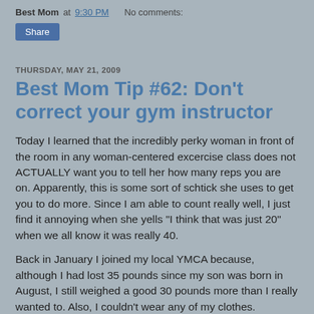Best Mom at 9:30 PM   No comments:
Share
THURSDAY, MAY 21, 2009
Best Mom Tip #62: Don't correct your gym instructor
Today I learned that the incredibly perky woman in front of the room in any woman-centered excercise class does not ACTUALLY want you to tell her how many reps you are on. Apparently, this is some sort of schtick she uses to get you to do more. Since I am able to count really well, I just find it annoying when she yells "I think that was just 20" when we all know it was really 40.
Back in January I joined my local YMCA because, although I had lost 35 pounds since my son was born in August, I still weighed a good 30 pounds more than I really wanted to. Also, I couldn't wear any of my clothes.